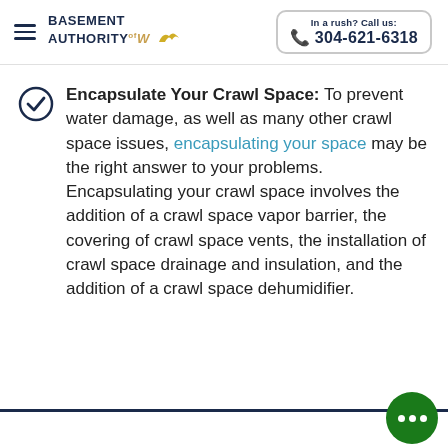BASEMENT AUTHORITY of WV | In a rush? Call us: 304-621-6318
Encapsulate Your Crawl Space: To prevent water damage, as well as many other crawl space issues, encapsulating your space may be the right answer to your problems. Encapsulating your crawl space involves the addition of a crawl space vapor barrier, the covering of crawl space vents, the installation of crawl space drainage and insulation, and the addition of a crawl space dehumidifier.